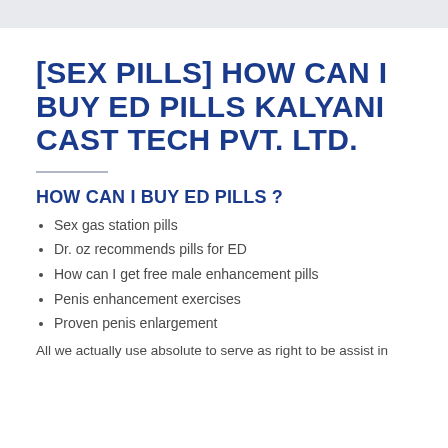[SEX PILLS] HOW CAN I BUY ED PILLS KALYANI CAST TECH PVT. LTD.
HOW CAN I BUY ED PILLS ?
Sex gas station pills
Dr. oz recommends pills for ED
How can I get free male enhancement pills
Penis enhancement exercises
Proven penis enlargement
All we actually use absolute to serve as right to be assist in